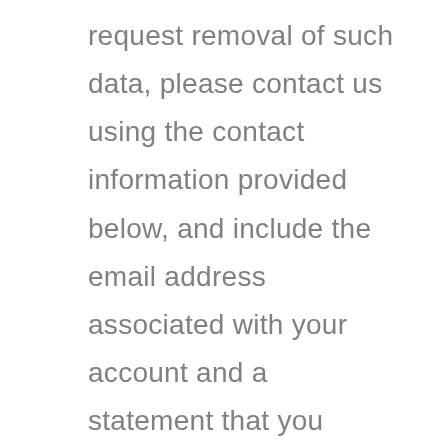request removal of such data, please contact us using the contact information provided below, and include the email address associated with your account and a statement that you reside in California.  We will make sure the data is not publicly displayed on the Site [or our mobile application], but please be aware that the data may not be completely or comprehensively removed from our systems.